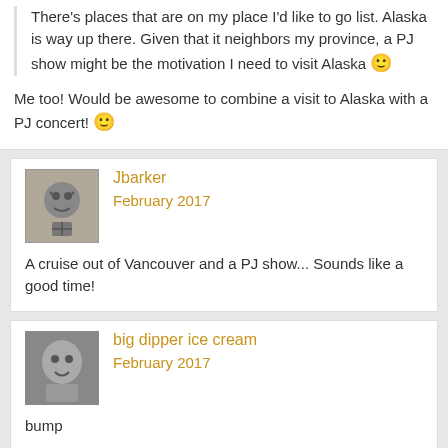There's places that are on my place I'd like to go list. Alaska is way up there. Given that it neighbors my province, a PJ show might be the motivation I need to visit Alaska 🙂
Me too! Would be awesome to combine a visit to Alaska with a PJ concert! 🙂
Jbarker
February 2017
A cruise out of Vancouver and a PJ show... Sounds like a good time!
big dipper ice cream
February 2017
bump